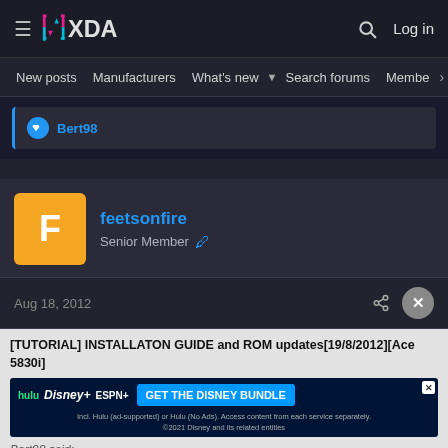[Figure (screenshot): XDA Developers forum navigation bar with hamburger menu, XDA logo, search icon, and Log in button]
New posts  Manufacturers  What's new  Search forums  Membe  >
Bert98
feetsonfire
Senior Member
Aug 18, 2012
[TUTORIAL] INSTALLATON GUIDE and ROM updates[19/8/2012][Ace 5830i]
[Figure (screenshot): Disney Bundle advertisement banner: hulu, Disney+, ESPN+ with GET THE DISNEY BUNDLE CTA]
Bert98 said: